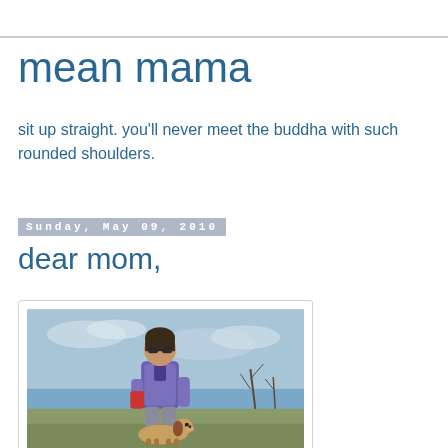mean mama
sit up straight. you'll never meet the buddha with such rounded shoulders.
Sunday, May 09, 2010
dear mom,
[Figure (photo): A woman wearing sunglasses and a blue/purple fleece jacket standing outdoors with a beagle dog at her feet. The background shows a partly cloudy sky and some bare trees.]